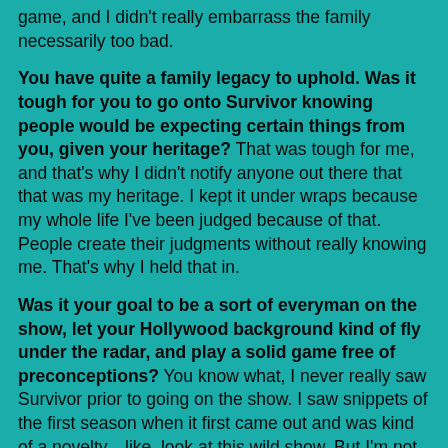game, and I didn't really embarrass the family necessarily too bad.
You have quite a family legacy to uphold. Was it tough for you to go onto Survivor knowing people would be expecting certain things from you, given your heritage? That was tough for me, and that's why I didn't notify anyone out there that that was my heritage. I kept it under wraps because my whole life I've been judged because of that. People create their judgments without really knowing me. That's why I held that in.
Was it your goal to be a sort of everyman on the show, let your Hollywood background kind of fly under the radar, and play a solid game free of preconceptions? You know what, I never really saw Survivor prior to going on the show. I saw snippets of the first season when it first came out and was kind of a novelty—like, look at this wild show. But I'm not really a TV watcher; I'm really a kind of physical guy and outdoorsman kind of guy. I never really knew about the show. I was at a Whole Foods market in Santa Monica, and the head casting woman approached me